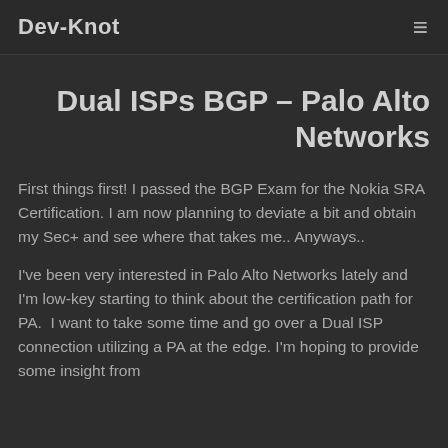Dev-Knot
Dual ISPs BGP – Palo Alto Networks
First things first! I passed the BGP Exam for the Nokia SRA Certification. I am now planning to deviate a bit and obtain my Sec+ and see where that takes me.. Anyways..
I've been very interested in Palo Alto Networks lately and I'm low-key starting to think about the certification path for PA.  I want to take some time and go over a Dual ISP connection utilizing a PA at the edge. I'm hoping to provide some insight from